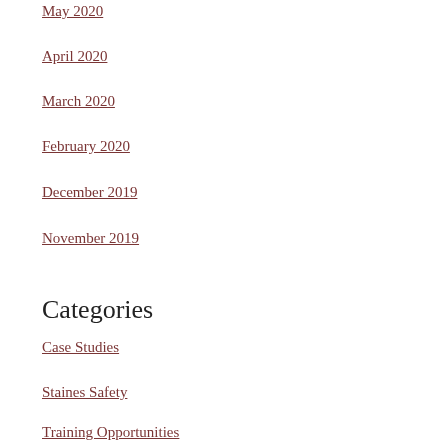May 2020
April 2020
March 2020
February 2020
December 2019
November 2019
Categories
Case Studies
Staines Safety
Training Opportunities